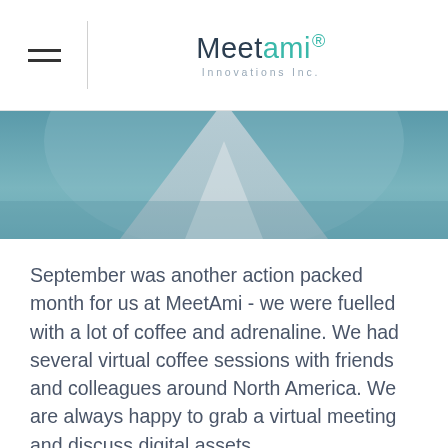MeetAmi Innovations Inc.
[Figure (photo): Abstract hero image with teal/blue-grey tones showing a mountain-like shape or tent-like form with soft gradient background]
September was another action packed month for us at MeetAmi - we were fuelled with a lot of coffee and adrenaline. We had several virtual coffee sessions with friends and colleagues around North America. We are always happy to grab a virtual meeting and discuss digital assets.
From a corporate viewpoint September